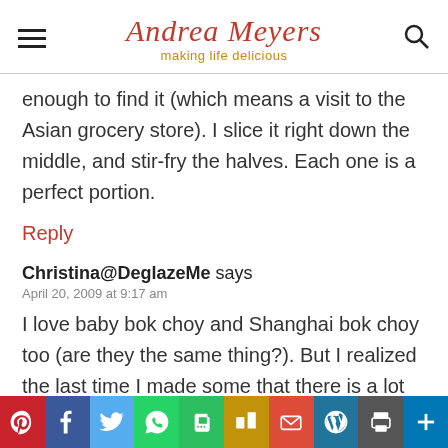Andrea Meyers — making life delicious
enough to find it (which means a visit to the Asian grocery store). I slice it right down the middle, and stir-fry the halves. Each one is a perfect portion.
Reply
Christina@DeglazeMe says
April 20, 2009 at 9:17 am
I love baby bok choy and Shanghai bok choy too (are they the same thing?). But I realized the last time I made some that there is a lot of